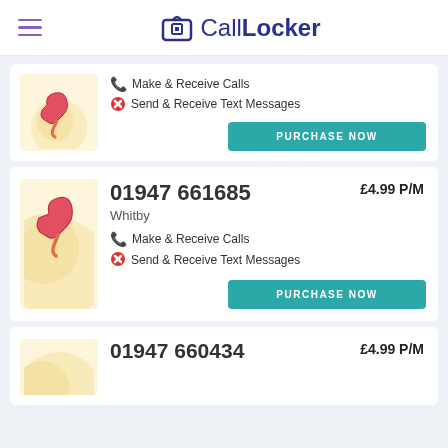CallLocker
[Figure (screenshot): Partially visible phone listing card with Make & Receive Calls and Send & Receive Text Messages features, and a PURCHASE NOW button]
01947 661685 £4.99 P/M Whitby Make & Receive Calls Send & Receive Text Messages
01947 660434 £4.99 P/M